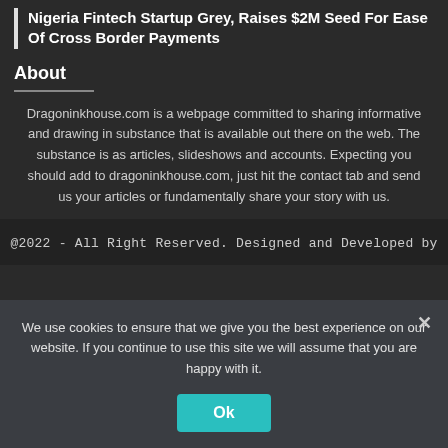Nigeria Fintech Startup Grey, Raises $2M Seed For Ease Of Cross Border Payments
About
Dragoninkhouse.com is a webpage committed to sharing informative and drawing in substance that is available out there on the web. The substance is as articles, slideshows and accounts. Expecting you should add to dragoninkhouse.com, just hit the contact tab and send us your articles or fundamentally share your story with us.
@2022 - All Right Reserved. Designed and Developed by
We use cookies to ensure that we give you the best experience on our website. If you continue to use this site we will assume that you are happy with it.